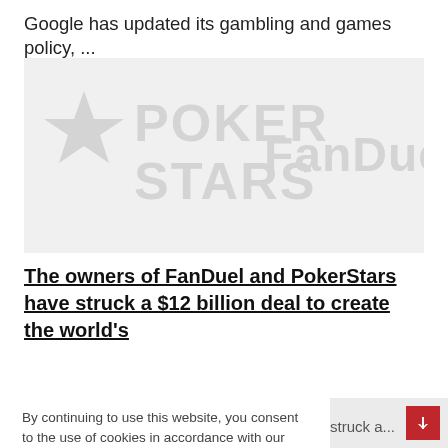Google has updated its gambling and games policy, ...
[Figure (logo): Banner image showing PokerStars and FanDuel logos side by side on a light gray background]
The owners of FanDuel and PokerStars have struck a $12 billion deal to create the world's
By continuing to use this website, you consent to the use of cookies in accordance with our Cookie Policy.
ACCEPT
struck a...